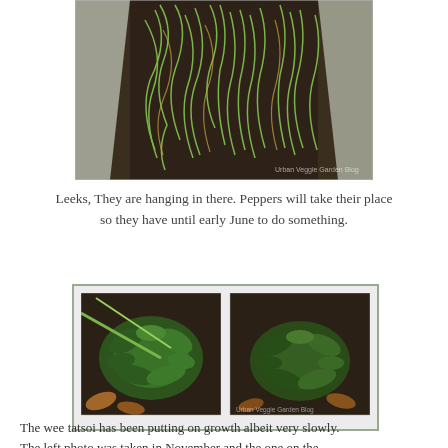[Figure (photo): Overhead view of leeks growing in a raised garden bed with soil, plastic sheeting visible on sides]
Leeks, They are hanging in there. Peppers will take their place
so they have until early June to do something.
[Figure (photo): Two side-by-side photos of tatsoi plants growing in soil; left photo taken in November, right photo more recent]
The wee tatsoi has been putting on growth albeit very slowly.
The left photo was taken in November and the one on the